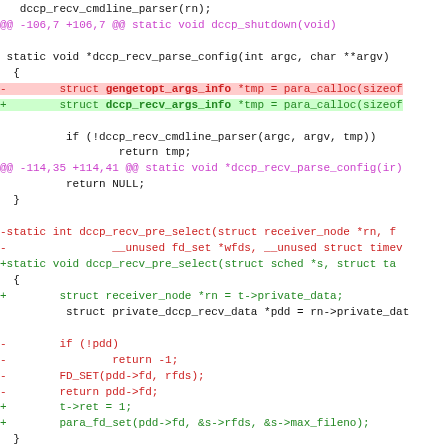[Figure (screenshot): A git diff / code patch showing changes to DCCP receive-related C source code. Lines removed are shown in red (with '-' prefix or red background), lines added in green ('+' prefix or green background), and diff hunk headers in magenta.]